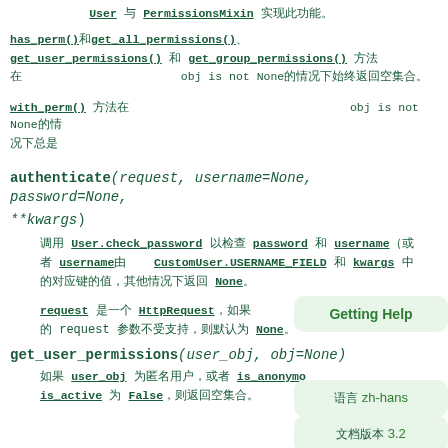继承 User 与 PermissionsMixin 实现此功能。
has_perm() 和 get_all_permissions()、get_user_permissions() 和 get_group_permissions() 方法在 obj is not None 的情况下始终返回空集合。
with_perm() 方法在 obj is not None 的情况下总是 返回空的查询集。
authenticate(request, username=None, password=None, **kwargs)
调用 User.check_password 以检查 password 和 username（或者 username由 CustomUser.USERNAME_FIELD 和 kwargs 中的对应键的值，其他情况下返回 None。
request 是一个 HttpRequest，如果 authenticate() 的 request 参数不受支持，则默认为 None。
get_user_permissions(user_obj, obj=None)
如果 user_obj 为匿名用户，或者 is_anonymous 或 is_active 为 False，则返回空集合。
[Figure (other): Getting Help sidebar popup box]
[Figure (other): Language selector: 语言 zh-hans]
[Figure (other): Version selector: 文档版本 3.2]